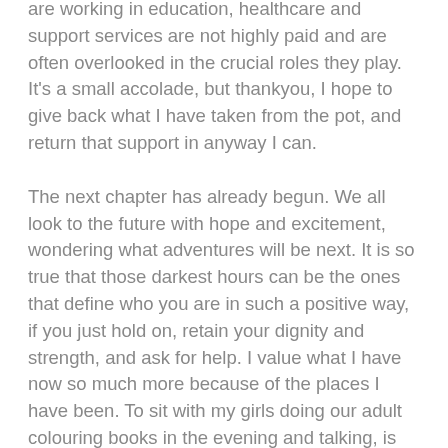are working in education, healthcare and support services are not highly paid and are often overlooked in the crucial roles they play. It's a small accolade, but thankyou, I hope to give back what I have taken from the pot, and return that support in anyway I can.

The next chapter has already begun. We all look to the future with hope and excitement, wondering what adventures will be next. It is so true that those darkest hours can be the ones that define who you are in such a positive way, if you just hold on, retain your dignity and strength, and ask for help. I value what I have now so much more because of the places I have been. To sit with my girls doing our adult colouring books in the evening and talking, is amazing, watching them dancing around the kitchen to loud tunes while they wash up; I'm so grateful for those small moments – times of peace, and pure joy. The look on their faces when I staggered out of the sea in my bikini in the wind and rain on